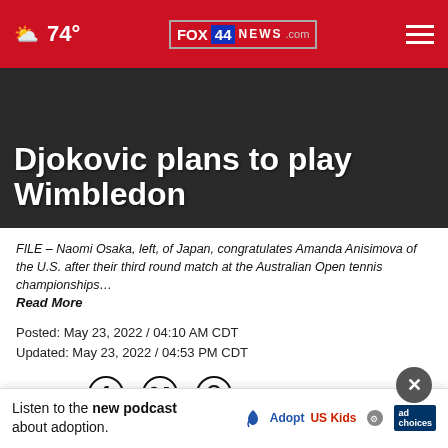74° FOX 44 NEWS.com
Djokovic plans to play Wimbledon
FILE – Naomi Osaka, left, of Japan, congratulates Amanda Anisimova of the U.S. after their third round match at the Australian Open tennis championships… Read More
Posted: May 23, 2022 / 04:10 AM CDT
Updated: May 23, 2022 / 04:53 PM CDT
SHARE
PARIS … tennis tourna…